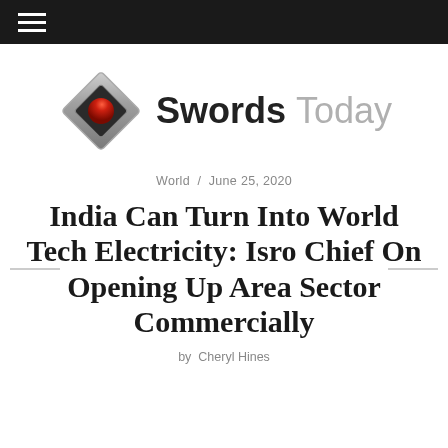[Figure (logo): Swords Today logo with a diamond-shaped metallic icon containing a red sphere, and the text 'Swords Today' where 'Today' is in gray]
World  /  June 25, 2020
India Can Turn Into World Tech Electricity: Isro Chief On Opening Up Area Sector Commercially
by  Cheryl Hines